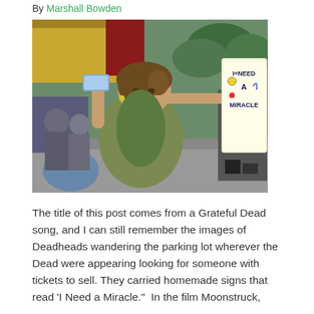By Marshall Bowden
[Figure (photo): A woman holding a handmade sign that reads 'I Need A Miracle' with colorful drawings, holding up what appears to be a ticket, surrounded by a crowd outdoors.]
The title of this post comes from a Grateful Dead song, and I can still remember the images of Deadheads wandering the parking lot wherever the Dead were appearing looking for someone with tickets to sell. They carried homemade signs that read 'I Need a Miracle."  In the film Moonstruck,